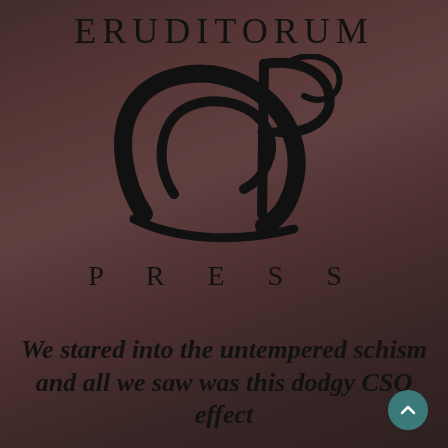ERUDITORUM
[Figure (logo): Eruditorum Press stylized EP logo in black, an elegant cursive E and P letterform combined]
P R E S S
We stared into the untempered schism and all we saw was this dodgy CSO effect